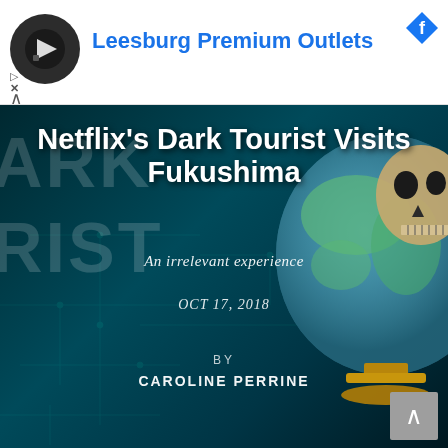[Figure (screenshot): Advertisement banner for Leesburg Premium Outlets with circular logo on white background]
Leesburg Premium Outlets
[Figure (photo): Dark tourist Netflix show cover image — dark teal background with globe showing skull, text 'DARK TOURIST' partially visible. Article headline, subtitle, date, and author overlaid on image.]
Netflix's Dark Tourist Visits Fukushima
An irrelevant experience
OCT 17, 2018
BY
CAROLINE PERRINE